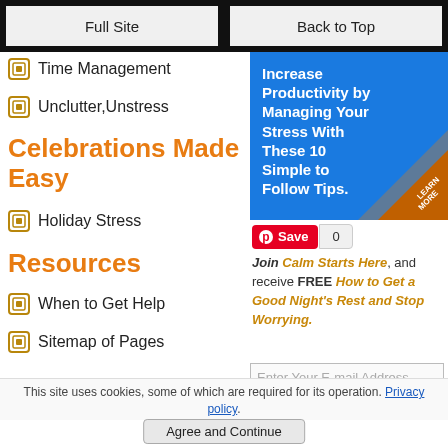Full Site | Back to Top
Time Management
Unclutter,Unstress
Celebrations Made Easy
Holiday Stress
Resources
When to Get Help
Sitemap of Pages
[Figure (illustration): Blue advertisement image with white bold text reading 'Increase Productivity by Managing Your Stress With These 10 Simple to Follow Tips.' with a curled corner effect showing 'LEARN MORE' text on brown/orange triangle]
Join Calm Starts Here, and receive FREE How to Get a Good Night's Rest and Stop Worrying.
Enter Your E-mail Address
This site uses cookies, some of which are required for its operation. Privacy policy.
Agree and Continue